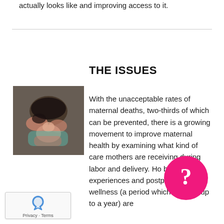actually looks like and improving access to it.
THE ISSUES
[Figure (photo): A photo of a mother with her newborn baby, viewed from above.]
With the unacceptable rates of maternal deaths, two-thirds of which can be prevented, there is a growing movement to improve maternal health by examining what kind of care mothers are receiving during labor and delivery. How birthing experiences and postpartum wellness (a period which can last up to a year) are